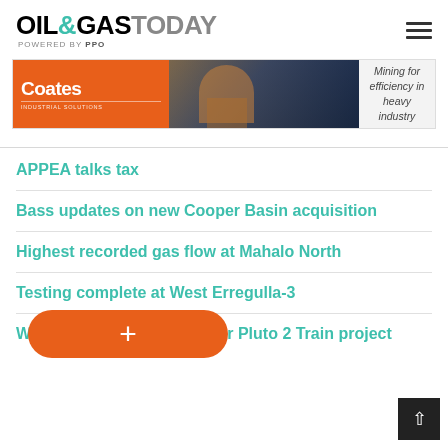OIL&GAS TODAY POWERED BY PPO
[Figure (infographic): Coates Industrial Solutions advertisement banner. Left section has orange background with 'Coates' in white bold text and 'INDUSTRIAL SOLUTIONS' subtitle. Middle section shows a photo of a worker in safety gear. Right section on light grey background reads 'Mining for efficiency in heavy industry'.]
APPEA talks tax
Bass updates on new Cooper Basin acquisition
Highest recorded gas flow at Mahalo North
Testing complete at West Erregulla-3
Woodside breaks ground for Pluto 2 Train project